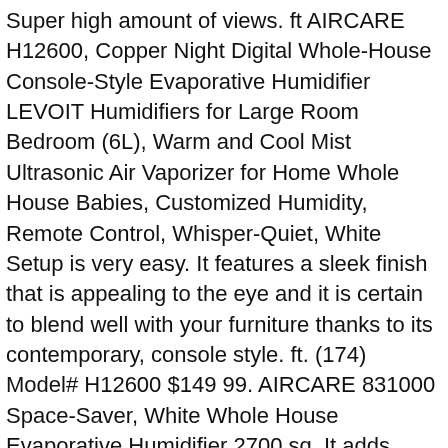Super high amount of views. ft AIRCARE H12600, Copper Night Digital Whole-House Console-Style Evaporative Humidifier LEVOIT Humidifiers for Large Room Bedroom (6L), Warm and Cool Mist Ultrasonic Air Vaporizer for Home Whole House Babies, Customized Humidity, Remote Control, Whisper-Quiet, White Setup is very easy. It features a sleek finish that is appealing to the eye and it is certain to blend well with your furniture thanks to its contemporary, console style. ft. (174) Model# H12600 $149 99. AIRCARE 831000 Space-Saver, White Whole House Evaporative Humidifier 2700 sq. It adds invisible moisture to your home by moving dry air through a saturated wick. From United States. AIRCARE H12600 Digital whole-house humidifier. Many humidifiers tout the ability to moisturize a whole house, but we've yet to find one that actually does that. Only a few simple parts to piece together. Remove all packaging materials. Evaporative Humidifier for 3700 sq. AIRCARE EP9 800 Digital Whole-House. Shop for Whole House Humidifier deals in Canada. AIRCARE 5.6 Gal. When you buy a